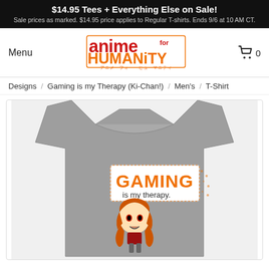$14.95 Tees + Everything Else on Sale! Sale prices as marked. $14.95 price applies to Regular T-shirts. Ends 9/6 at 10 AM CT.
Menu
[Figure (logo): Anime for Humanity logo with Japanese text below]
[Figure (illustration): Shopping cart icon with 0]
Designs  /  Gaming is my Therapy (Ki-Chan!)  /  Men's  /  T-Shirt
[Figure (photo): Gray t-shirt with anime chibi girl character and text: GAMING is my therapy.]